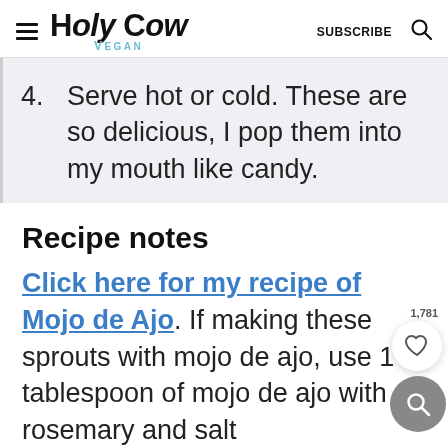Holy Cow Vegan — SUBSCRIBE
4. Serve hot or cold. These are so delicious, I pop them into my mouth like candy.
Recipe notes
Click here for my recipe of Mojo de Ajo. If making these sprouts with mojo de ajo, use 1 tablespoon of mojo de ajo with rosemary and salt
and half the garlic, about two cloves.
You can leave out the pepper, or add